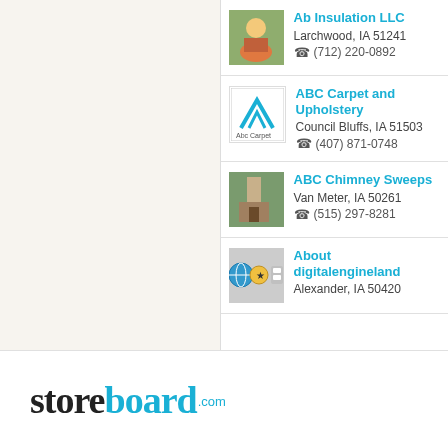Ab Insulation LLC, Larchwood, IA 51241, (712) 220-0892
ABC Carpet and Upholstery, Council Bluffs, IA 51503, (407) 871-0748
ABC Chimney Sweeps, Van Meter, IA 50261, (515) 297-8281
About digitalengineland, Alexander, IA 50420
[Figure (logo): storeboard.com logo in black and cyan]